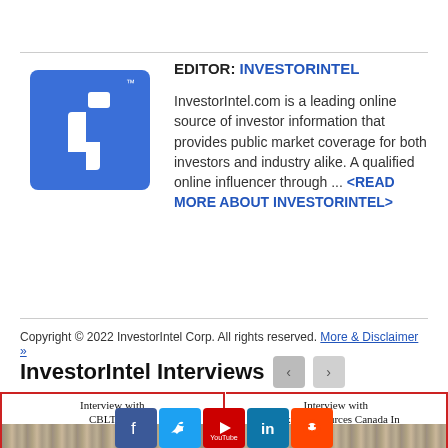[Figure (logo): InvestorIntel blue square logo with stylized 'i' letter in white]
EDITOR: INVESTORINTEL

InvestorIntel.com is a leading online source of investor information that provides public market coverage for both investors and industry alike. A qualified online influencer through ... <READ MORE ABOUT INVESTORINTEL>
Copyright © 2022 InvestorIntel Corp. All rights reserved. More & Disclaimer »
InvestorIntel Interviews
[Figure (photo): Interview with CBLT Inc. thumbnail]
[Figure (photo): Interview with Auxico Resources Canada Inc. thumbnail]